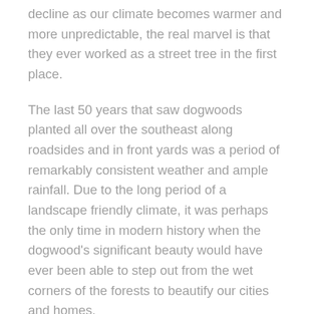decline as our climate becomes warmer and more unpredictable, the real marvel is that they ever worked as a street tree in the first place.
The last 50 years that saw dogwoods planted all over the southeast along roadsides and in front yards was a period of remarkably consistent weather and ample rainfall. Due to the long period of a landscape friendly climate, it was perhaps the only time in modern history when the dogwood's significant beauty would have ever been able to step out from the wet corners of the forests to beautify our cities and homes.
To find a replacement tree for our ailing and